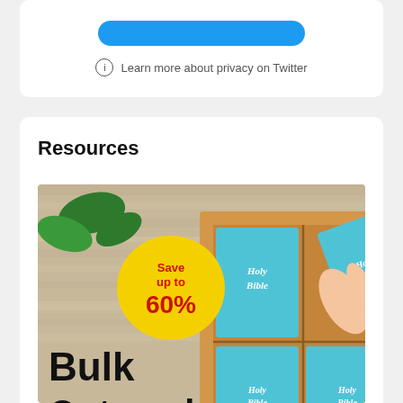[Figure (screenshot): Top section of a webpage showing a blue button and a privacy link for Twitter inside a white rounded card]
Learn more about privacy on Twitter
Resources
[Figure (illustration): Advertisement image showing bulk outreach bibles with a yellow badge saying Save up to 60%, Holy Bible books in a cardboard box, text reads Bulk Outreach Bibles]